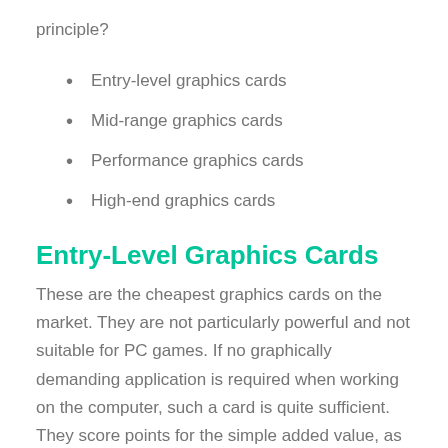principle?
Entry-level graphics cards
Mid-range graphics cards
Performance graphics cards
High-end graphics cards
Entry-Level Graphics Cards
These are the cheapest graphics cards on the market. They are not particularly powerful and not suitable for PC games. If no graphically demanding application is required when working on the computer, such a card is quite sufficient. They score points for the simple added value, as drivers and